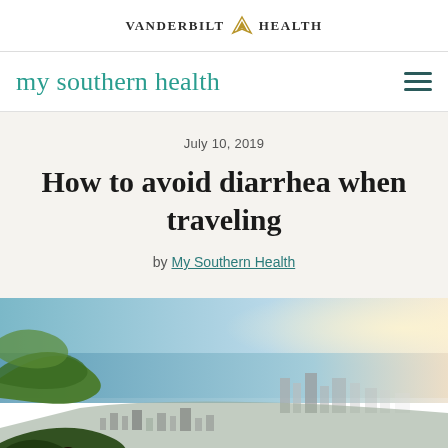VANDERBILT HEALTH
my southern health
July 10, 2019
How to avoid diarrhea when traveling
by My Southern Health
[Figure (photo): Aerial panoramic view of a coastal city with a person in the foreground sitting on a hillside overlooking the ocean and city buildings below]